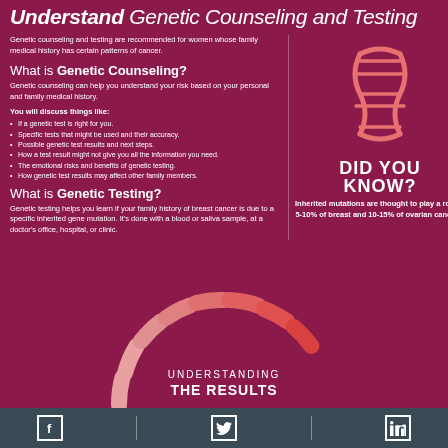Understand Genetic Counseling and Testing
Genetic counseling and testing are recommended for women whose family medical history has certain patterns of cancer.
What is Genetic Counseling?
Genetic counseling can help you understand your risk based on your personal and family medical history.
You will discuss things like:
If a genetic test is right for you.
Specific tests that might be used and their accuracy.
Possible genetic test results and next steps.
How a test result might not give you all the information you need.
The emotional risks and benefits of genetic testing.
How genetic test results may affect other family members.
[Figure (illustration): DNA double helix icon in salmon/coral color on dark red background]
DID YOU KNOW?
Inherited mutations are thought to play a role in 5-10% of breast and 10-15% of ovarian cancers.
What is Genetic Testing?
Genetic testing helps you learn if your family history of breast cancer is due to a specific inherited gene mutation. It's done with a blood or saliva sample, at a doctor's office, hospital, or clinic.
[Figure (infographic): Semi-circular arc graphic with salmon gradient segments labeled UNDERSTANDING THE RESULTS]
Social media icons: Facebook, Twitter, LinkedIn